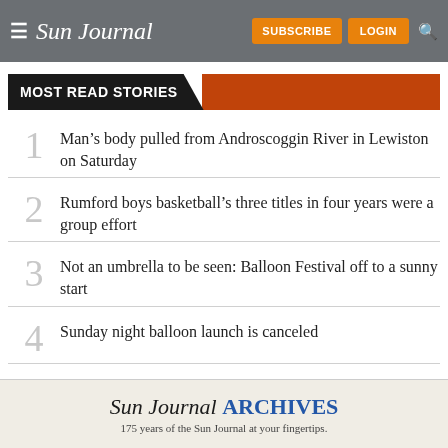Sun Journal — SUBSCRIBE | LOGIN
MOST READ STORIES
1. Man's body pulled from Androscoggin River in Lewiston on Saturday
2. Rumford boys basketball's three titles in four years were a group effort
3. Not an umbrella to be seen: Balloon Festival off to a sunny start
4. Sunday night balloon launch is canceled
[Figure (advertisement): Sun Journal Archives ad — 175 years of the Sun Journal at your fingertips.]